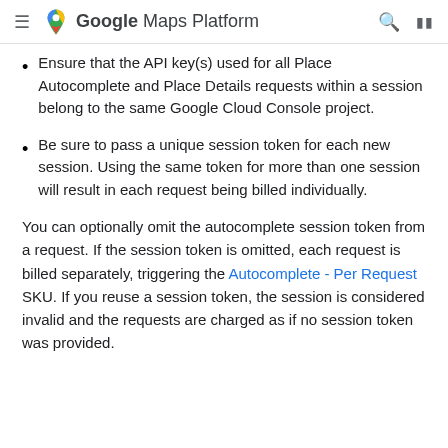Google Maps Platform
Ensure that the API key(s) used for all Place Autocomplete and Place Details requests within a session belong to the same Google Cloud Console project.
Be sure to pass a unique session token for each new session. Using the same token for more than one session will result in each request being billed individually.
You can optionally omit the autocomplete session token from a request. If the session token is omitted, each request is billed separately, triggering the Autocomplete - Per Request SKU. If you reuse a session token, the session is considered invalid and the requests are charged as if no session token was provided.